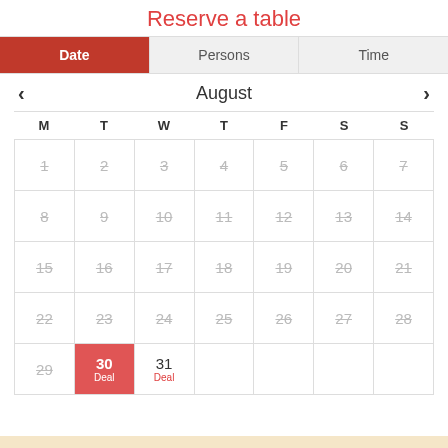Reserve a table
| Date | Persons | Time |
| --- | --- | --- |
< August >
| M | T | W | T | F | S | S |
| --- | --- | --- | --- | --- | --- | --- |
| 1 | 2 | 3 | 4 | 5 | 6 | 7 |
| 8 | 9 | 10 | 11 | 12 | 13 | 14 |
| 15 | 16 | 17 | 18 | 19 | 20 | 21 |
| 22 | 23 | 24 | 25 | 26 | 27 | 28 |
| 29 | 30 Deal | 31 Deal |  |  |  |  |